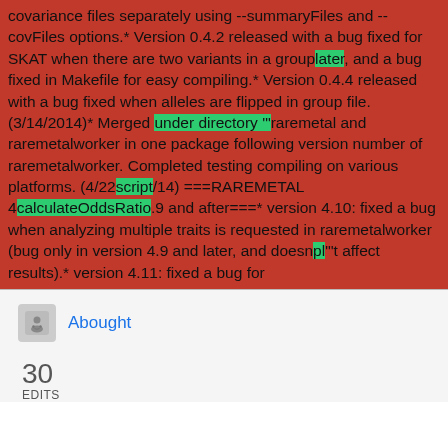covariance files separately using --summaryFiles and --covFiles options.* Version 0.4.2 released with a bug fixed for SKAT when there are two variants in a grouplater, and a bug fixed in Makefile for easy compiling.* Version 0.4.4 released with a bug fixed when alleles are flipped in group file. (3/14/2014)* Merged under directory '"raremetal and raremetalworker in one package following version number of raremetalworker. Completed testing compiling on various platforms. (4/22script/14) ===RAREMETAL 4calculateOddsRatio.9 and after===* version 4.10: fixed a bug when analyzing multiple traits is requested in raremetalworker (bug only in version 4.9 and later, and doesnpl"'t affect results).* version 4.11: fixed a bug for
Abought
30
EDITS